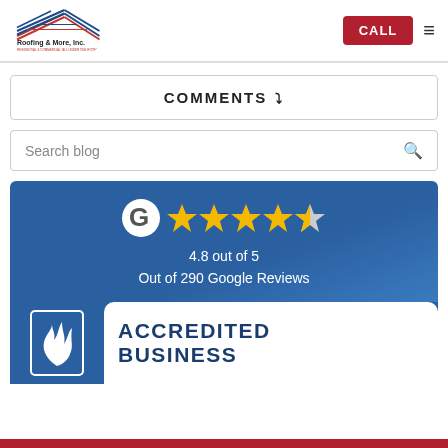Roofing & More, Inc. — CALL button and hamburger menu
COMMENTS ∨
Search blog
[Figure (infographic): Google review panel showing 4.8 out of 5 stars from 290 Google Reviews, with 5 yellow stars (last one half-filled), on a blue background]
[Figure (logo): BBB Accredited Business logo on blue and white panel, showing the BBB flame logo on the left and 'ACCREDITED BUSINESS' text on the right]